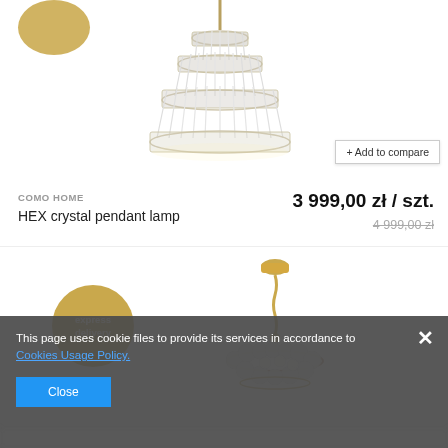[Figure (photo): Crystal tiered chandelier pendant lamp (HEX) viewed from below, with gold/brass accents and multiple tiers of clear crystal glass pendants]
+ Add to compare
COMO HOME
HEX crystal pendant lamp
3 999,00 zł / szt.
4 999,00 zł
[Figure (photo): Second chandelier with gold rod/chain suspension and circular arrangement of round crystal/glass globe bulbs]
express delivery
This page uses cookie files to provide its services in accordance to Cookies Usage Policy.
Close